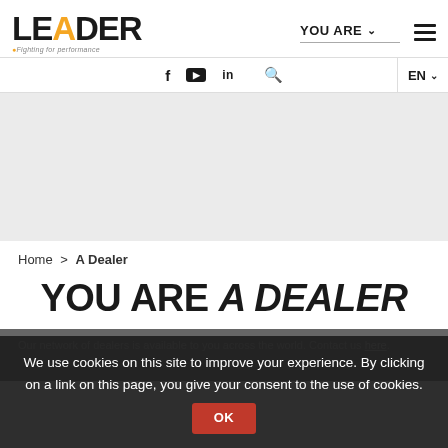[Figure (logo): LEADER logo with orange D letter and tagline 'Fighting for performance']
YOU ARE ∨   ≡   f  ▶  in  🔍  EN ∨
[Figure (photo): Light grey hero banner area (empty/placeholder image)]
Home > A Dealer
YOU ARE A DEALER
Our network... here.
We use cookies on this site to improve your experience. By clicking on a link on this page, you give your consent to the use of cookies.